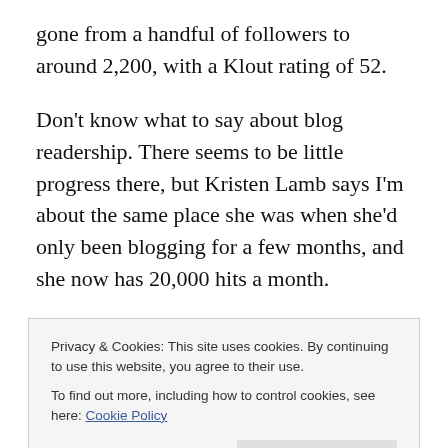gone from a handful of followers to around 2,200, with a Klout rating of 52.
Don't know what to say about blog readership. There seems to be little progress there, but Kristen Lamb says I'm about the same place she was when she'd only been blogging for a few months, and she now has 20,000 hits a month.
Since I've started having guest bloggers on most Fridays, my hits for those days have increased somewhat. Stats
Privacy & Cookies: This site uses cookies. By continuing to use this website, you agree to their use.
To find out more, including how to control cookies, see here: Cookie Policy
a lot of her regulars read it.